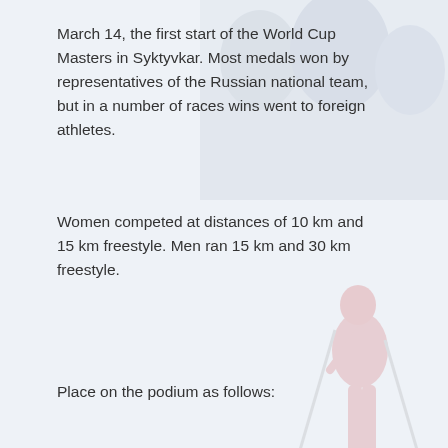March 14, the first start of the World Cup Masters in Syktyvkar. Most medals won by representatives of the Russian national team, but in a number of races wins went to foreign athletes.
Women competed at distances of 10 km and 15 km freestyle. Men ran 15 km and 30 km freestyle.
Place on the podium as follows:
Continue reading →
This entry was posted in News on March 15, 2015.
First race